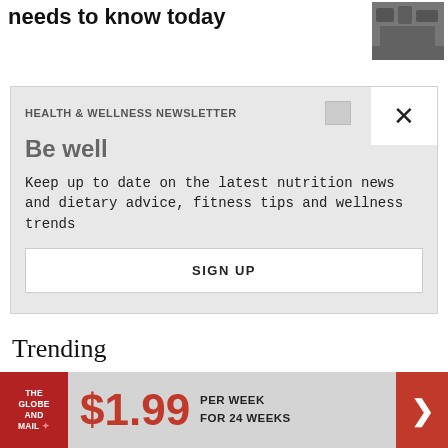needs to know today
[Figure (photo): Photo of people on stock exchange floor]
HEALTH & WELLNESS NEWSLETTER
Be well
Keep up to date on the latest nutrition news and dietary advice, fitness tips and wellness trends
SIGN UP
Trending
[Figure (logo): The Globe and Mail logo in red square]
$1.99 PER WEEK FOR 24 WEEKS